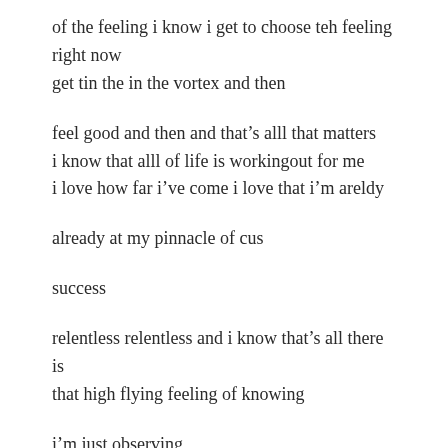of the feeling i know i get to choose teh feeling right now
get tin the in the vortex and then
feel good and then and that’s alll that matters
i know that alll of life is workingout for me
i love how far i’ve come i love that i’m areldy
already at my pinnacle of cus
success
relentless relentless and i know that’s all there is
that high flying feeling of knowing
i’m just observing
i’m just watching